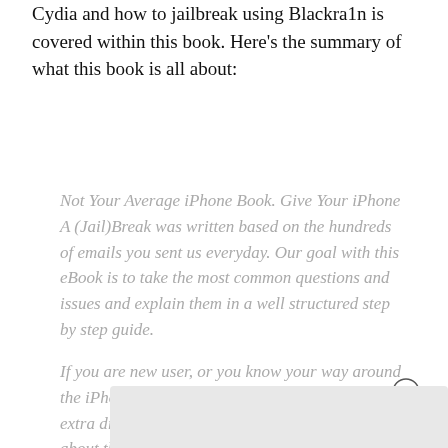Cydia and how to jailbreak using Blackra1n is covered within this book. Here's the summary of what this book is all about:
Not Your Average iPhone Book. Give Your iPhone A (Jail)Break was written based on the hundreds of emails you sent us everyday. Our goal with this eBook is to take the most common questions and issues and explain them in a well structured step by step guide.

If you are new user, or you know your way around the iPhone you will find that this guide has no extra distractions and interruptions. Everything is about the content and the ease to learn.
[Figure (other): Close button (circled X) UI element and a gray rectangular content area at the bottom]